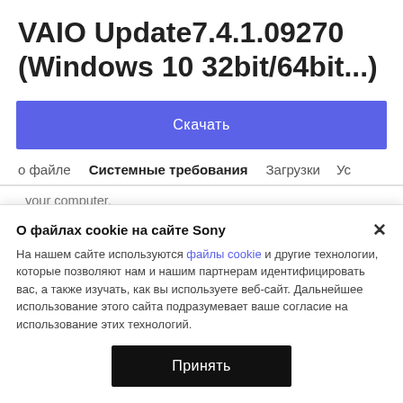VAIO Update7.4.1.09270 (Windows 10 32bit/64bit...)
Скачать
о файле   Системные требования   Загрузки   Ус
your computer.
2. Go to the folder where the file has been downloaded.
3. Double-tap (or double-click) EP0000******.exe.
4. Follow the on-screen instructions.
5. Restart your computer when installation is complete.
О файлах cookie на сайте Sony
На нашем сайте используются файлы cookie и другие технологии, которые позволяют нам и нашим партнерам идентифицировать вас, а также изучать, как вы используете веб-сайт. Дальнейшее использование этого сайта подразумевает ваше согласие на использование этих технологий.
Принять